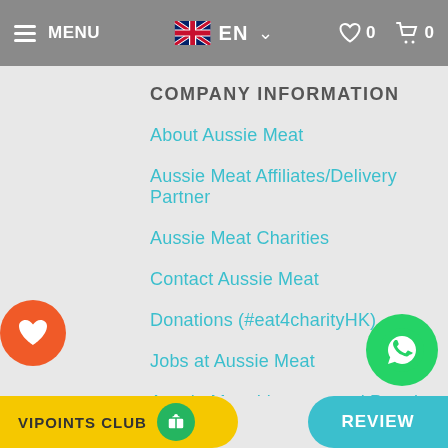MENU | EN | 0 | 0
COMPANY INFORMATION
About Aussie Meat
Aussie Meat Affiliates/Delivery Partner
Aussie Meat Charities
Contact Aussie Meat
Donations (#eat4charityHK)
Jobs at Aussie Meat
Aussie Meat Licences and Permits
Media and PR Enquiries
VIPOINTS CLUB | REVIEW